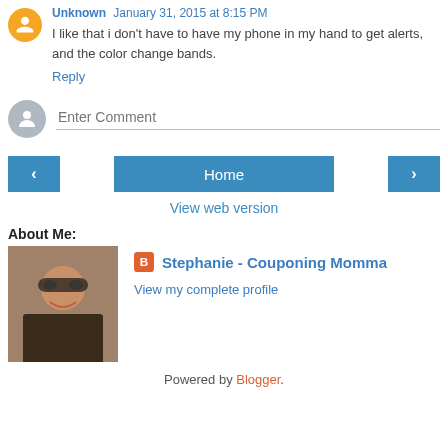Unknown January 31, 2015 at 8:15 PM
I like that i don't have to have my phone in my hand to get alerts, and the color change bands.
Reply
Enter Comment
‹
Home
›
View web version
About Me:
[Figure (photo): Profile photo of Stephanie - Couponing Momma, a woman with sunglasses smiling]
Stephanie - Couponing Momma
View my complete profile
Powered by Blogger.